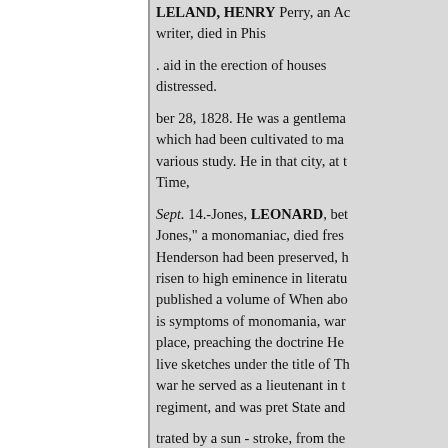LELAND, HENRY Perry, an Ac writer, died in Phis
. aid in the erection of houses distressed.
ber 28, 1828. He was a gentlema which had been cultivated to ma various study. He in that city, at t Time,
Sept. 14.-Jones, LEONARD, bet Jones," a monomaniac, died fres Henderson had been preserved, h risen to high eminence in literatu published a volume of When abo is symptoms of monomania, war place, preaching the doctrine He live sketches under the title of Th war he served as a lieutenant in t regiment, and was pret State and
trated by a sun - stroke, from the fully recovered. U.S. Coast Surv 33 years. He was a graduate of C
Kissingen, Germany while o